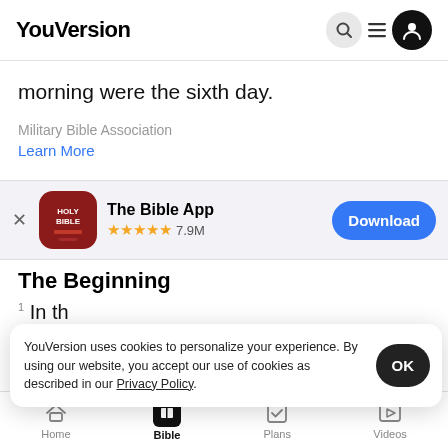YouVersion
morning were the sixth day.
Military Bible Association
Learn More
[Figure (screenshot): The Bible App app store banner with icon (HOLY BIBLE), 5 star rating, 7.9M reviews, and Download button]
The Beginning
1 In th
and the earth.   Now the earth was formless
YouVersion uses cookies to personalize your experience. By using our website, you accept our use of cookies as described in our Privacy Policy.
Home   Bible   Plans   Videos